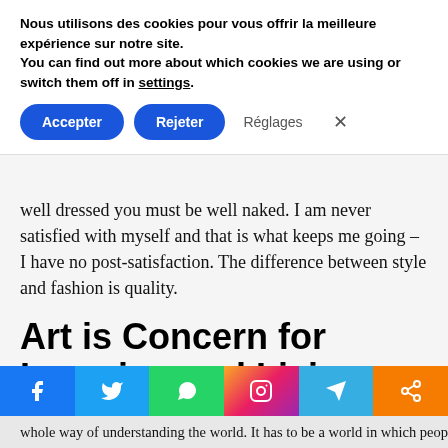Nous utilisons des cookies pour vous offrir la meilleure expérience sur notre site.
You can find out more about which cookies we are using or switch them off in settings.
Accepter  Rejeter  Réglages  ×
well dressed you must be well naked. I am never satisfied with myself and that is what keeps me going – I have no post-satisfaction. The difference between style and fashion is quality.
Art is Concern for Learning and Living
Possibly we do not have one theme for each season, but just try to make beautiful clothes all year round. We have
whole way of understanding the world. It has to be a world in which people live rather than die: a sustainable world. It